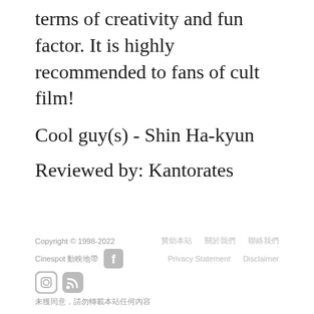terms of creativity and fun factor. It is highly recommended to fans of cult film!
Cool guy(s) - Shin Ha-kyun
Reviewed by: Kantorates
Copyright © 1998-2022  Cinespot 動映地帶  贊助本站  關於我們  聯絡我們  Privacy Statement  Disclaimer  未獲同意，請勿轉載本站任何內容